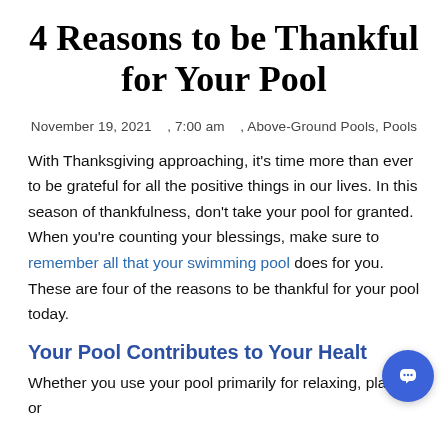4 Reasons to be Thankful for Your Pool
November 19, 2021    , 7:00 am    , Above-Ground Pools, Pools
With Thanksgiving approaching, it’s time more than ever to be grateful for all the positive things in our lives. In this season of thankfulness, don’t take your pool for granted. When you’re counting your blessings, make sure to remember all that your swimming pool does for you. These are four of the reasons to be thankful for your pool today.
Your Pool Contributes to Your Health
Whether you use your pool primarily for relaxing, playing, or